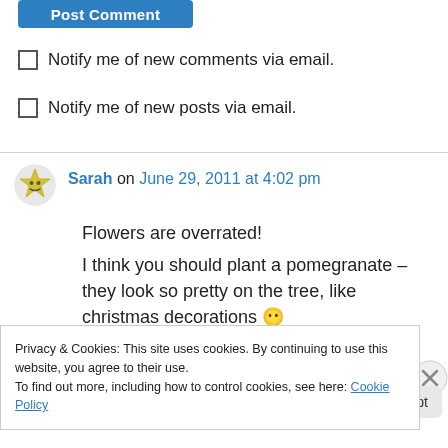[Figure (other): Blue 'Post Comment' button]
Notify me of new comments via email.
Notify me of new posts via email.
Sarah on June 29, 2011 at 4:02 pm
Flowers are overrated!
I think you should plant a pomegranate – they look so pretty on the tree, like christmas decorations 😶
Privacy & Cookies: This site uses cookies. By continuing to use this website, you agree to their use.
To find out more, including how to control cookies, see here: Cookie Policy
Close and accept